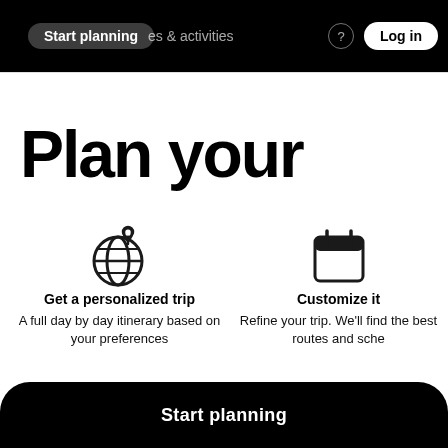Start planning  es & activities  Log in
Plan your
[Figure (illustration): Globe icon with location pin on top]
Get a personalized trip
A full day by day itinerary based on your preferences
[Figure (illustration): Calendar icon]
Customize it
Refine your trip. We'll find the best routes and sche…
Start planning